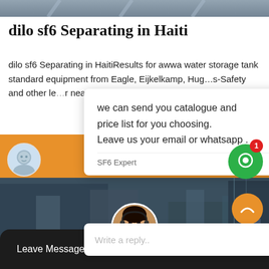[Figure (photo): Top banner strip showing industrial/outdoor scene]
dilo sf6 Separating in Haiti
dilo sf6 Separating in HaitiResults for awwa water storage tank standard equipment from Eagle, Eijkelkamp, Hug..s-Safety and other le...r near you
we can send you catalogue and price list for you choosing.
Leave us your email or whatsapp .
SF6 Expert    just now
Write a reply..
[Figure (photo): Industrial workers in blue helmets working on equipment]
Leave Message    Chat Online